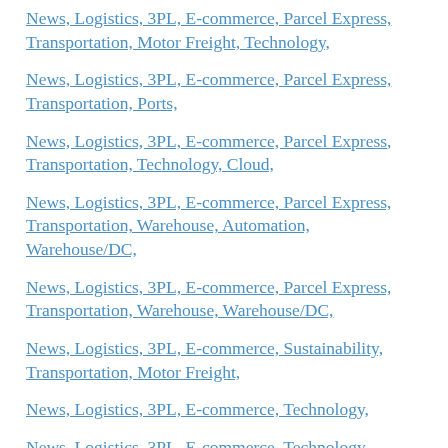News, Logistics, 3PL, E-commerce, Parcel Express, Transportation, Motor Freight, Technology,
News, Logistics, 3PL, E-commerce, Parcel Express, Transportation, Ports,
News, Logistics, 3PL, E-commerce, Parcel Express, Transportation, Technology, Cloud,
News, Logistics, 3PL, E-commerce, Parcel Express, Transportation, Warehouse, Automation, Warehouse/DC,
News, Logistics, 3PL, E-commerce, Parcel Express, Transportation, Warehouse, Warehouse/DC,
News, Logistics, 3PL, E-commerce, Sustainability, Transportation, Motor Freight,
News, Logistics, 3PL, E-commerce, Technology,
News, Logistics, 3PL, E-commerce, Technology, Mobile & Wireless, Warehouse, Automation, Warehouse/DC,
News, Logistics, 3PL, E-commerce, Technology,